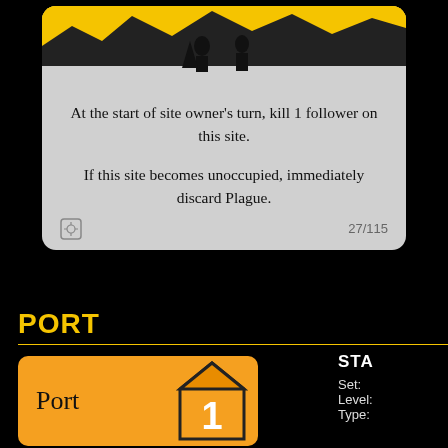[Figure (illustration): Top portion of a game card with yellow banner artwork showing silhouette figures, on a grey card background]
At the start of site owner's turn, kill 1 follower on this site.

If this site becomes unoccupied, immediately discard Plague.
27/115
PORT
[Figure (illustration): Orange game card showing 'Port' label and a house icon with the number 1]
STA
Set:
Level:
Type: